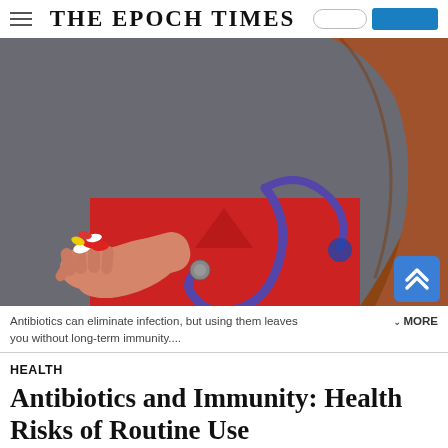THE EPOCH TIMES
[Figure (photo): A healthcare worker in red scrubs with a purple stethoscope around their neck, holding out a handful of colorful pills and capsules toward the camera. The background is dark gray.]
Antibiotics can eliminate infection, but using them leaves you without long-term immunity....
HEALTH
Antibiotics and Immunity: Health Risks of Routine Use